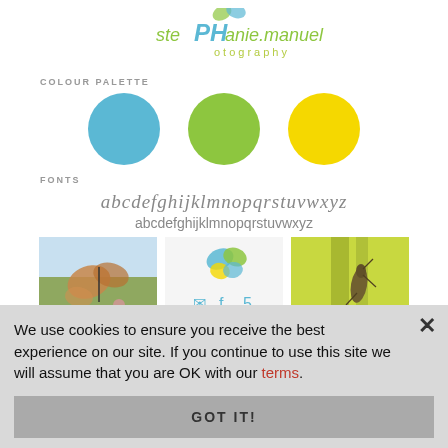[Figure (logo): stePHanie.manuel photography logo with stylized butterfly and green/blue text]
COLOUR PALETTE
[Figure (infographic): Three colour circles: sky blue, lime green, yellow]
FONTS
[Figure (infographic): Script font alphabet: abcdefghijklmnopqrstuvwxyz in cursive style]
abcdefghijklmnopqrstuvwxyz
[Figure (photo): Three images: butterfly on flower (photo), logo with social icons, grasshopper on green stem (photo)]
We use cookies to ensure you receive the best experience on our site. If you continue to use this site we will assume that you are OK with our terms
GOT IT!